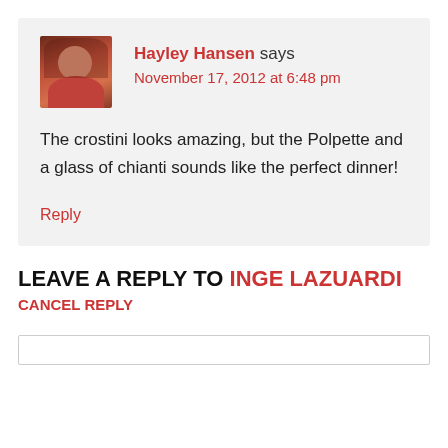[Figure (photo): Avatar photo of Hayley Hansen, a woman with reddish-brown hair wearing a pink/red top]
Hayley Hansen says
November 17, 2012 at 6:48 pm
The crostini looks amazing, but the Polpette and a glass of chianti sounds like the perfect dinner!
Reply
LEAVE A REPLY TO INGE LAZUARDI
CANCEL REPLY